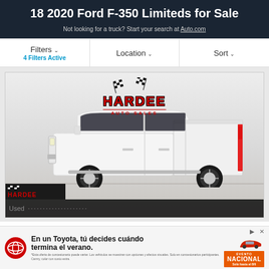18 2020 Ford F-350 Limiteds for Sale
Not looking for a truck? Start your search at Auto.com
Filters ∨ 4 Filters Active | Location ∨ | Sort ∨
[Figure (photo): White 2020 Ford F-350 Limited pickup truck displayed in a dealership showroom with Hardee Auto Sales branding/logo above it. The truck is lifted with large off-road tires on chrome wheels. Red taillights visible. Bottom of image shows partial Hardee logo and a partial listing row.]
[Figure (other): Toyota advertisement banner in Spanish: 'En un Toyota, tú decides cuándo termina el verano.' with Toyota logo, a red Toyota car image on right side, and 'EVENTO NACIONAL' orange badge. Small disclaimer text at bottom.]